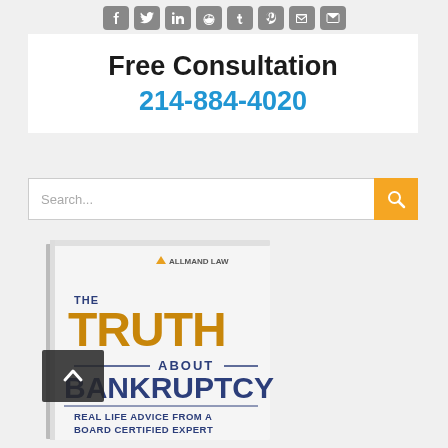[Figure (infographic): Social media sharing icons row: Facebook, Twitter, LinkedIn, Reddit, Tumblr, Pinterest, another icon, and Email — all grey rounded square icons on light grey background]
Free Consultation
214-884-4020
[Figure (screenshot): Search bar with placeholder text 'Search...' and an orange search button with magnifying glass icon]
[Figure (photo): Book cover: 'The Truth About Bankruptcy - Real Life Advice From A Board Certified Expert' by Allmand Law, with a scroll-to-top arrow button overlay]